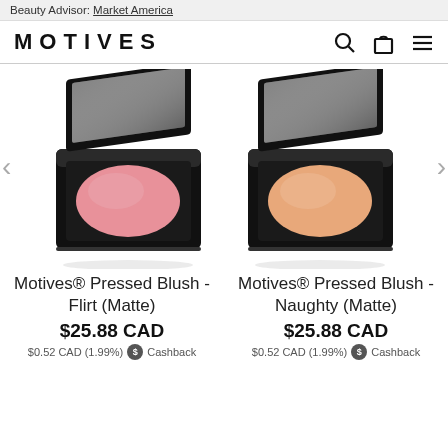Beauty Advisor: Market America
MOTIVES
[Figure (photo): Motives Pressed Blush compact open showing pink matte blush pan with black reflective compact case, on white background with reflection]
[Figure (photo): Motives Pressed Blush compact open showing peach/orange matte blush pan with black reflective compact case, on white background with reflection]
Motives® Pressed Blush - Flirt (Matte)
Motives® Pressed Blush - Naughty (Matte)
$25.88 CAD
$25.88 CAD
$0.52 CAD (1.99%) Cashback
$0.52 CAD (1.99%) Cashback